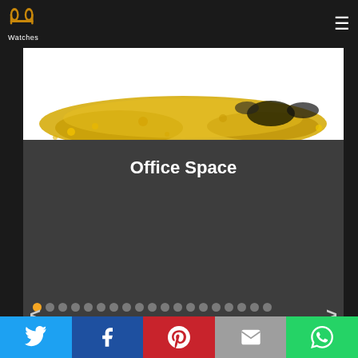PP Watches (logo) — hamburger menu
[Figure (photo): Gold/yellow splash or texture image at top of carousel slide]
Office Space
[Figure (infographic): Carousel navigation dots (orange active dot + 19 grey dots in two rows) with prev (<) and next (>) arrows]
[Figure (screenshot): Bottom grey card partially visible below orange divider line]
Social share bar: Twitter, Facebook, Pinterest, Email, WhatsApp